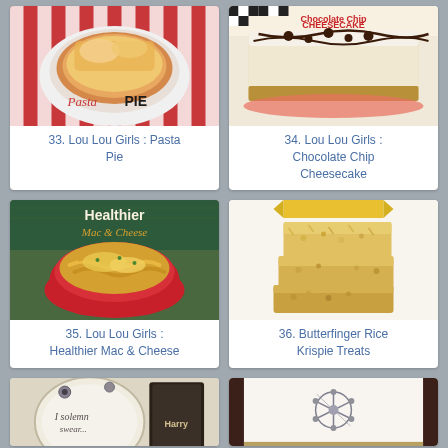[Figure (photo): Pasta Pie dish with melted cheese on a plate, red and white striped background, text overlay reading 'Pasta PIE']
33. Lou Lou Girls : Pasta Pie
[Figure (photo): Chocolate Chip Cheesecake with chocolate drizzle and chips on top, text overlay reading 'Chocolate Chip CHEESECAKE']
34. Lou Lou Girls : Chocolate Chip Cheesecake
[Figure (photo): Healthier Mac and Cheese dish in a red bowl with pasta and shredded cheese, text overlay reading 'Healthier Mac & Cheese']
35. Lou Lou Girls : Healthier Mac & Cheese
[Figure (photo): Butterfinger Rice Krispie Treats stacked, golden brown crispy bars]
36. Butterfinger Rice Krispie Treats
[Figure (photo): Harry Potter themed item with text 'I solemnly' visible on fabric, with Harry Potter book]
[Figure (photo): Decorative card with dark chocolate brown borders and a snowflake decoration]